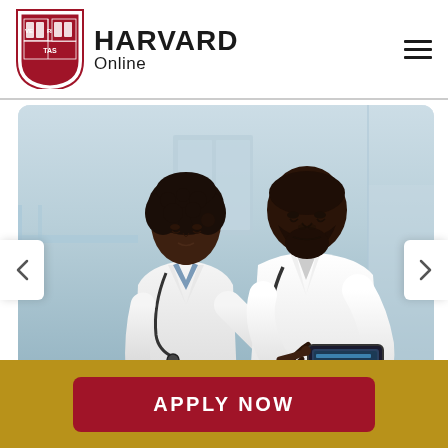HARVARD Online
[Figure (photo): Two medical professionals in white lab coats with stethoscopes stand in a hospital corridor reviewing information on a tablet device. A Black woman doctor on the left looks down at the tablet while an older Black male doctor on the right points at the screen and explains something. The background shows a modern hospital hallway with glass railings and bright lighting.]
APPLY NOW